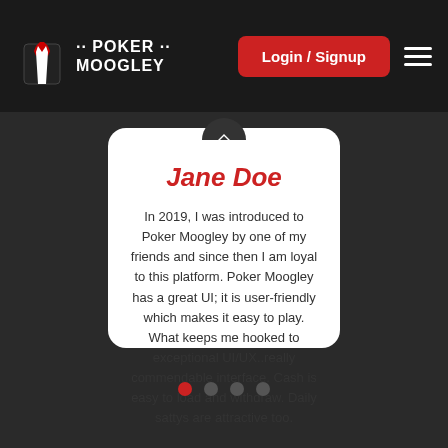POKER MOOGLEY — Login / Signup
Jane Doe
In 2019, I was introduced to Poker Moogley by one of my friends and since then I am loyal to this platform. Poker Moogley has a great UI; it is user-friendly which makes it easy to play. What keeps me hooked to exceptional UI/UX..really commendable interface. Cash is easy to load and withdraw. Daily sattys are attractive too.